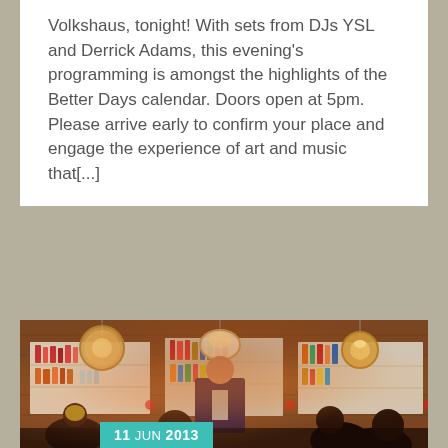Volkshaus, tonight! With sets from DJs YSL and Derrick Adams, this evening's programming is amongst the highlights of the Better Days calendar. Doors open at 5pm. Please arrive early to confirm your place and engage the experience of art and music that[...]
[Figure (photo): Interior bar scene with people socializing, pendant lamps, bar shelves with bottles in the background. A man in a dark suit stands in the center. Date badge reads '11 JUN 2013'.]